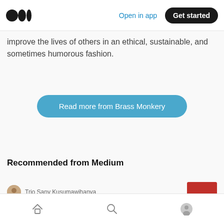Medium logo | Open in app | Get started
improve the lives of others in an ethical, sustainable, and sometimes humorous fashion.
[Figure (other): Blue rounded button with white text: Read more from Brass Monkery]
Recommended from Medium
Trio Sany Kusumawihanya
Home | Search | Profile — bottom navigation bar